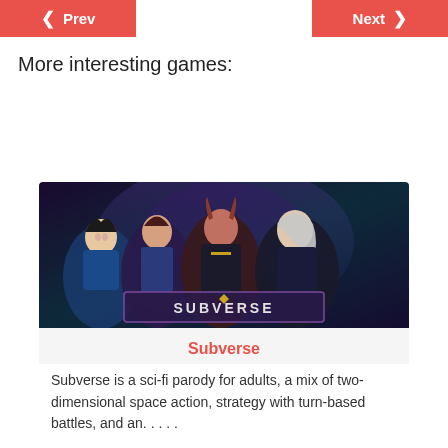< Prev    Next >
More interesting games:
[Figure (illustration): Subverse game promotional image showing four female anime-style characters in sci-fi attire with the SUBVERSE logo at the bottom]
Subverse
Subverse is a sci-fi parody for adults, a mix of two-dimensional space action, strategy with turn-based battles, and an. . . . .